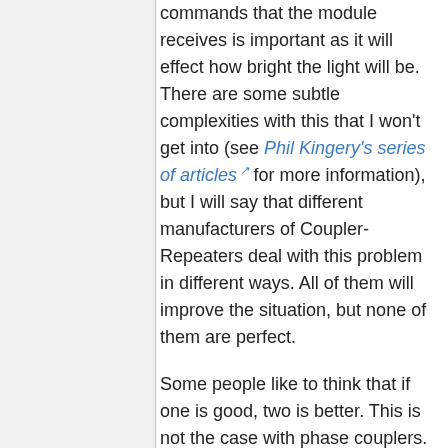commands that the module receives is important as it will effect how bright the light will be. There are some subtle complexities with this that I won't get into (see Phil Kingery's series of articles for more information), but I will say that different manufacturers of Coupler-Repeaters deal with this problem in different ways. All of them will improve the situation, but none of them are perfect.
Some people like to think that if one is good, two is better. This is not the case with phase couplers. This is especially true with Coupler-Repeaters since they can start to ping-pong commands off of each other. There are situations in large buildings where more than one Coupler-Repeater is needed, and in those cases you must use commercial grade units